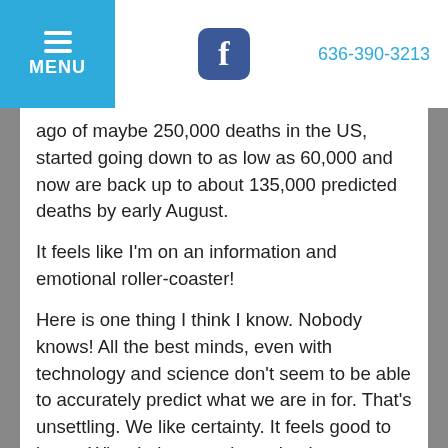MENU  f  636-390-3213
ago of maybe 250,000 deaths in the US, started going down to as low as 60,000 and now are back up to about 135,000 predicted deaths by early August.
It feels like I'm on an information and emotional roller-coaster!
Here is one thing I think I know. Nobody knows! All the best minds, even with technology and science don't seem to be able to accurately predict what we are in for. That's unsettling. We like certainty. It feels good to know. What I also am witnessing is our human desire to make the uncertain, certain. It's a defense coping mechanism. Even in the absence of great supporting evidence, it feels really good to "fool ourselves" into a belief in certainty and to tell the world "'the truth" about a situation. It is comforting, and gives us peace. Without certainty, even just feigned or perceived certainty, we feel anxious, helpless and hopeless. What